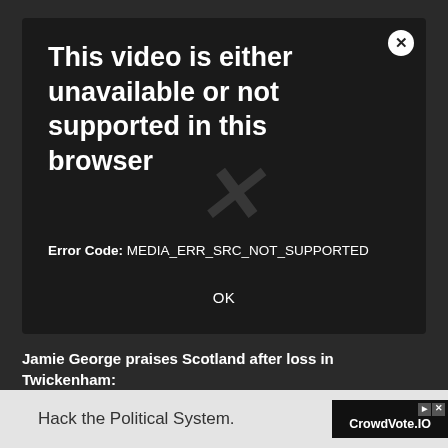[Figure (screenshot): Video player error dialog on dark background. Shows error message 'This video is either unavailable or not supported in this browser', Error Code: MEDIA_ERR_SRC_NOT_SUPPORTED, with an OK button and a close (X) button in top-right corner. A faint X watermark is visible in the background.]
Jamie George praises Scotland after loss in Twickenham:
Six Nations organisers did not request that players
[Figure (screenshot): Advertisement banner: 'Hack the Political System.' with CrowdVote.IO logo on dark background, with play and close controls.]